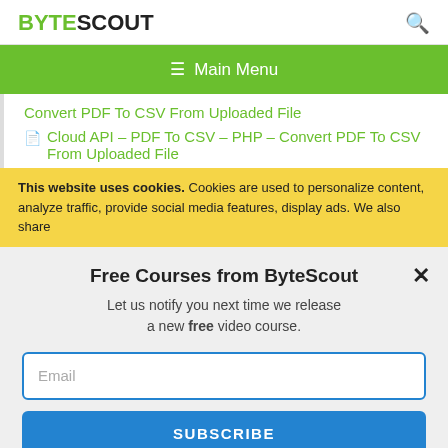BYTESCOUT
≡ Main Menu
Convert PDF To CSV From Uploaded File
Cloud API – PDF To CSV – PHP – Convert PDF To CSV From Uploaded File
This website uses cookies. Cookies are used to personalize content, analyze traffic, provide social media features, display ads. We also share
Free Courses from ByteScout
Let us notify you next time we release a new free video course.
Email
SUBSCRIBE